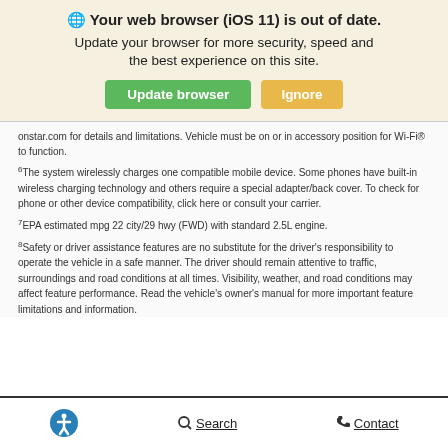🌐 Your web browser (iOS 11) is out of date. Update your browser for more security, speed and the best experience on this site.
onstar.com for details and limitations. Vehicle must be on or in accessory position for Wi-Fi® to function.
6The system wirelessly charges one compatible mobile device. Some phones have built-in wireless charging technology and others require a special adapter/back cover. To check for phone or other device compatibility, click here or consult your carrier.
7EPA estimated mpg 22 city/29 hwy (FWD) with standard 2.5L engine.
8Safety or driver assistance features are no substitute for the driver's responsibility to operate the vehicle in a safe manner. The driver should remain attentive to traffic, surroundings and road conditions at all times. Visibility, weather, and road conditions may affect feature performance. Read the vehicle's owner's manual for more important feature limitations and information.
Search  Contact